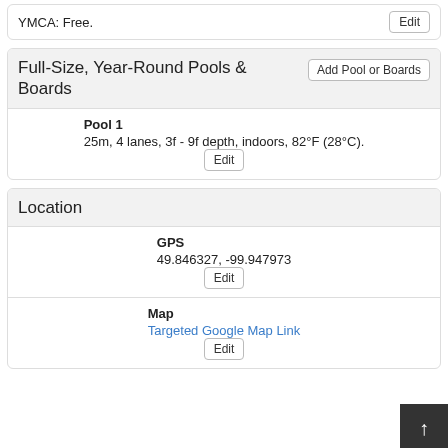YMCA: Free.
Full-Size, Year-Round Pools & Boards
Pool 1
25m, 4 lanes, 3f - 9f depth, indoors, 82°F (28°C).
Location
GPS
49.846327, -99.947973
Map
Targeted Google Map Link